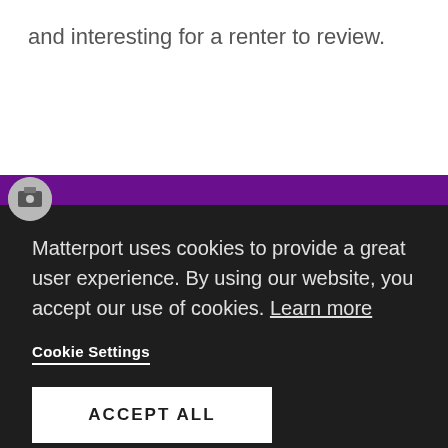and interesting for a renter to review.
[Figure (screenshot): Cookie consent overlay on Matterport website with purple navigation bar, dark background, cookie notice text, Cookie Settings button, and ACCEPT ALL button]
Matterport uses cookies to provide a great user experience. By using our website, you accept our use of cookies. Learn more
Cookie Settings
ACCEPT ALL